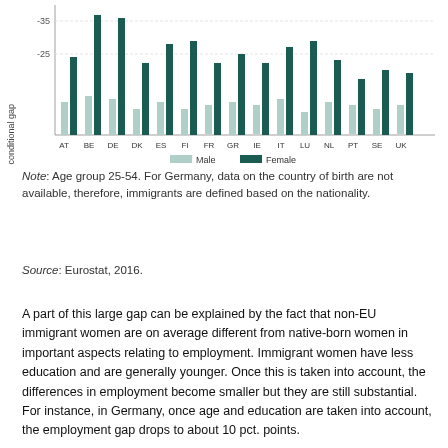[Figure (bar-chart): Unconditional gap]
Note: Age group 25-54. For Germany, data on the country of birth are not available, therefore, immigrants are defined based on the nationality.
Source: Eurostat, 2016.
A part of this large gap can be explained by the fact that non-EU immigrant women are on average different from native-born women in important aspects relating to employment. Immigrant women have less education and are generally younger. Once this is taken into account, the differences in employment become smaller but they are still substantial. For instance, in Germany, once age and education are taken into account, the employment gap drops to about 10 pct. points.